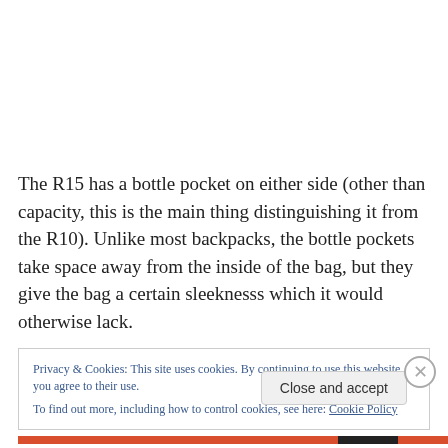The R15 has a bottle pocket on either side (other than capacity, this is the main thing distinguishing it from the R10). Unlike most backpacks, the bottle pockets take space away from the inside of the bag, but they give the bag a certain sleeknesss which it would otherwise lack.
Privacy & Cookies: This site uses cookies. By continuing to use this website, you agree to their use.
To find out more, including how to control cookies, see here: Cookie Policy